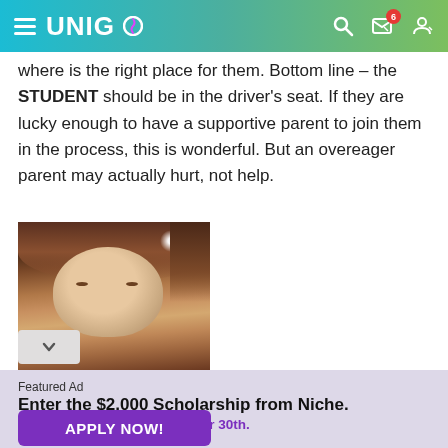UNIGO
where is the right place for them. Bottom line — the STUDENT should be in the driver's seat. If they are lucky enough to have a supportive parent to join them in the process, this is wonderful. But an overeager parent may actually hurt, not help.
[Figure (photo): Photo of a woman with reddish-brown hair, partial view cut off at bottom]
Featured Ad
Enter the $2,000 Scholarship from Niche.
Last day to enter is September 30th.
APPLY NOW!